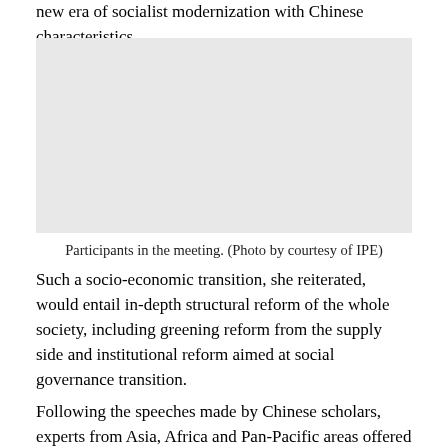new era of socialist modernization with Chinese characteristics.
[Figure (photo): Participants in the meeting, large group photo.]
Participants in the meeting. (Photo by courtesy of IPE)
Such a socio-economic transition, she reiterated, would entail in-depth structural reform of the whole society, including greening reform from the supply side and institutional reform aimed at social governance transition.
Following the speeches made by Chinese scholars, experts from Asia, Africa and Pan-Pacific areas offered their insights on